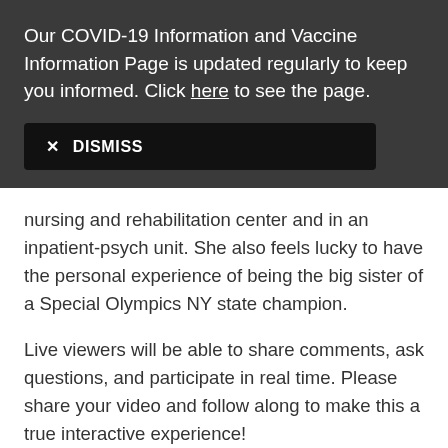Our COVID-19 Information and Vaccine Information Page is updated regularly to keep you informed. Click here to see the page.
✕ DISMISS
nursing and rehabilitation center and in an inpatient-psych unit. She also feels lucky to have the personal experience of being the big sister of a Special Olympics NY state champion.
Live viewers will be able to share comments, ask questions, and participate in real time. Please share your video and follow along to make this a true interactive experience!